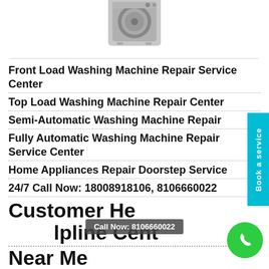[Figure (photo): Washing machine appliance image at the top of the page]
Front Load Washing Machine Repair Service Center
Top Load Washing Machine Repair Center
Semi-Automatic Washing Machine Repair
Fully Automatic Washing Machine Repair Service Center
Home Appliances Repair Doorstep Service
24/7 Call Now: 18008918106, 8106660022
Customer Helpline Cent...
Near Me
Call Now: 8106660022
[Figure (illustration): Green phone call button circle icon]